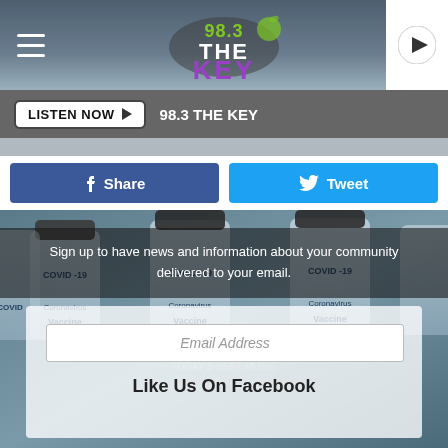[Figure (screenshot): 98.3 The Key radio station website header with logo, hamburger menu, and play button]
LISTEN NOW ▶  98.3 THE KEY
f  Share
🐦  Tweet
[Figure (photo): COVID-19 Coronavirus Vaccine vials background image]
Sign up to have news and information about your community delivered to your email.
Email Address
Like Us On Facebook